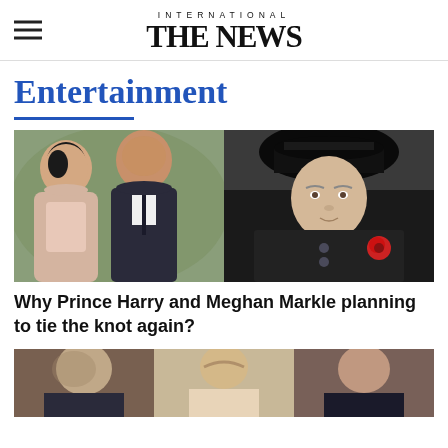INTERNATIONAL THE NEWS
Entertainment
[Figure (photo): Photo collage: Prince Harry and Meghan Markle on the left, Queen Elizabeth II on the right]
Why Prince Harry and Meghan Markle planning to tie the knot again?
[Figure (photo): Three people shown from shoulders up, partial crop at bottom of page]